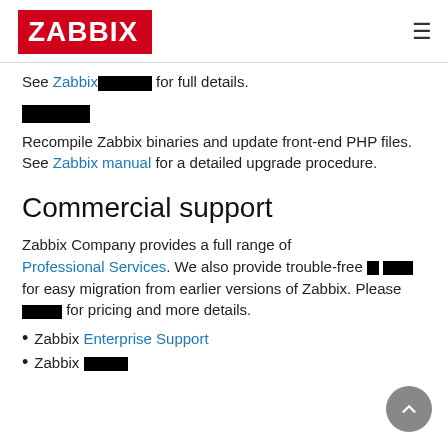ZABBIX
See Zabbix[redacted] for full details.
[redacted]
Recompile Zabbix binaries and update front-end PHP files. See Zabbix manual for a detailed upgrade procedure.
Commercial support
Zabbix Company provides a full range of Professional Services. We also provide trouble-free [redacted] for easy migration from earlier versions of Zabbix. Please [redacted] for pricing and more details.
Zabbix Enterprise Support
Zabbix [redacted]